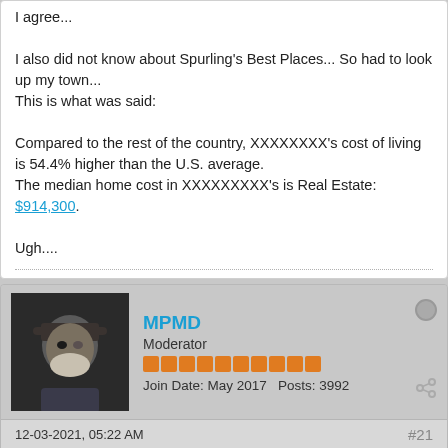I agree...
I also did not know about Spurling's Best Places... So had to look up my town...
This is what was said:

Compared to the rest of the country, XXXXXXXX's cost of living is 54.4% higher than the U.S. average.
The median home cost in XXXXXXXXX's is Real Estate: $914,300.

Ugh....
MPMD
Moderator
Join Date: May 2017  Posts: 3992
12-03-2021, 05:22 AM
#21
Originally posted by Brains428
Comfortable is subjective. But, yea, it should be easy to live on that sum comfortably.